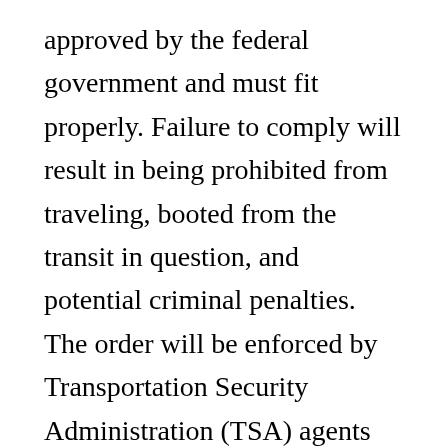approved by the federal government and must fit properly. Failure to comply will result in being prohibited from traveling, booted from the transit in question, and potential criminal penalties. The order will be enforced by Transportation Security Administration (TSA) agents and “other federal authorities,” as well as state and local officials. “To the extent permitted by law…federal agencies are required to implement additional measures enforcing the provisions of this Order,” the CDC says.